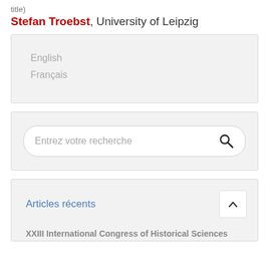title)
Stefan Troebst, University of Leipzig
English
Français
Entrez votre recherche
Articles récents
XXIII International Congress of Historical Sciences